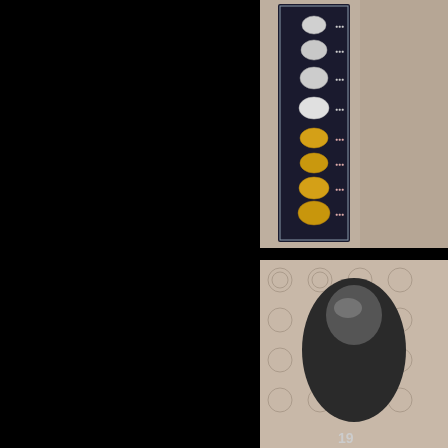[Figure (photo): Large black area on the left side of the page, approximately 60% of the page width]
[Figure (photo): Top right image showing a framed display of coins or medals arranged vertically on dark velvet backing, with a decorative background visible behind the frame]
[Figure (photo): Bottom right image showing a portrait photograph of a person with a decorative patterned background, appearing to be a historical or artistic display]